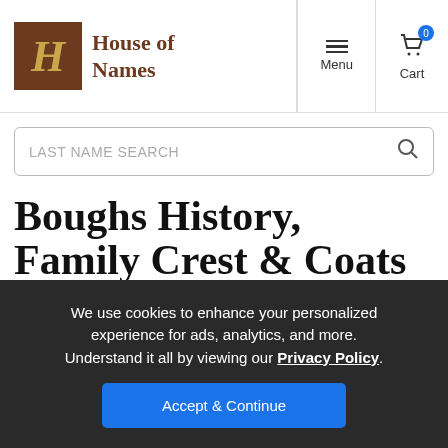House of Names — Menu | Cart
LAST NAME SEARCH
Boughs History, Family Crest & Coats of Arms
Origins Available: England  Ireland
We use cookies to enhance your personalized experience for ads, analytics, and more. Understand it all by viewing our Privacy Policy. Accept & Continue